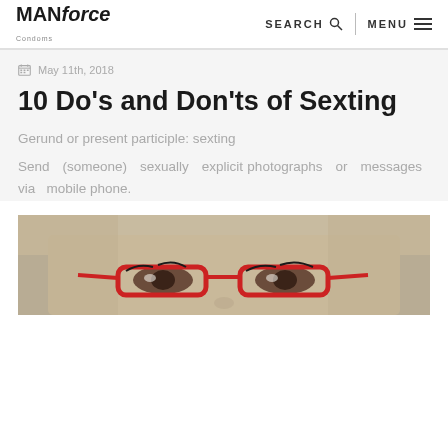MANforce | SEARCH | MENU
May 11th, 2018
10 Do’s and Don’ts of Sexting
Gerund or present participle: sexting
Send (someone) sexually explicit photographs or messages via mobile phone.
[Figure (photo): Close-up photo of a woman with blonde hair and red glasses, eyes visible]